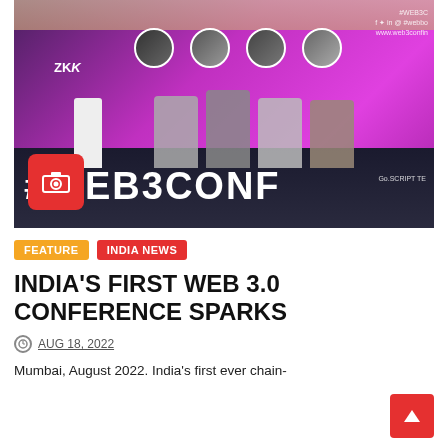[Figure (photo): Conference stage photo showing #WEB3CONF event with panelists seated on stage against a bright pink/purple backdrop, profile circles of speakers shown on the large screen, camera icon overlay in bottom left]
FEATURE
INDIA NEWS
INDIA'S FIRST WEB 3.0 CONFERENCE SPARKS
AUG 18, 2022
Mumbai, August 2022. India's first ever chain-